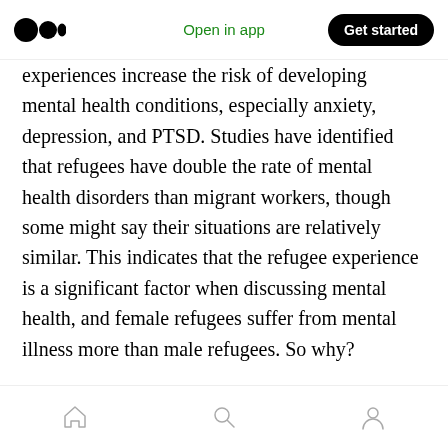Medium app header — logo, Open in app, Get started
experiences increase the risk of developing mental health conditions, especially anxiety, depression, and PTSD. Studies have identified that refugees have double the rate of mental health disorders than migrant workers, though some might say their situations are relatively similar. This indicates that the refugee experience is a significant factor when discussing mental health, and female refugees suffer from mental illness more than male refugees. So why?
Why is mental illness a gendered experience? It suggests there are fundamental differences in
Home | Search | Profile navigation icons